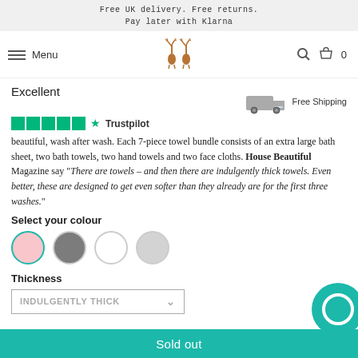Free UK delivery. Free returns.
Pay later with Klarna
Menu [logo] [search] [cart] 0
Excellent
[Figure (logo): Trustpilot rating with 5 green star boxes and Trustpilot logo text]
[Figure (illustration): Delivery truck icon with 'Free Shipping' label]
beautiful, wash after wash. Each 7-piece towel bundle consists of an extra large bath sheet, two bath towels, two hand towels and two face cloths. House Beautiful Magazine say "There are towels – and then there are indulgently thick towels. Even better, these are designed to get even softer than they already are for the first three washes."
Select your colour
[Figure (illustration): Four colour swatches: pink (selected with teal border), dark grey, white, light grey]
Thickness
[Figure (illustration): Dropdown selector showing 'INDULGENTLY THICK']
Sold out